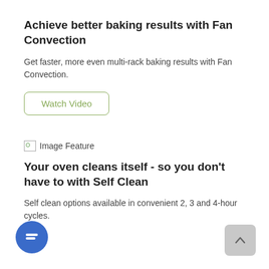Achieve better baking results with Fan Convection
Get faster, more even multi-rack baking results with Fan Convection.
Watch Video
[Figure (illustration): Broken image placeholder labeled 'Image Feature']
Your oven cleans itself - so you don't have to with Self Clean
Self clean options available in convenient 2, 3 and 4-hour cycles.